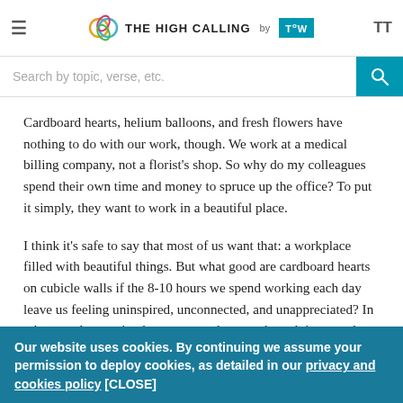THE HIGH CALLING by TOW
Search by topic, verse, etc.
Cardboard hearts, helium balloons, and fresh flowers have nothing to do with our work, though. We work at a medical billing company, not a florist's shop. So why do my colleagues spend their own time and money to spruce up the office? To put it simply, they want to work in a beautiful place.
I think it's safe to say that most of us want that: a workplace filled with beautiful things. But what good are cardboard hearts on cubicle walls if the 8-10 hours we spend working each day leave us feeling uninspired, unconnected, and unappreciated? In other words, creating beauty at works starts by valuing people, by investing in relationships, and by feeling like your life is valued above your work.
Our website uses cookies. By continuing we assume your permission to deploy cookies, as detailed in our privacy and cookies policy [CLOSE]